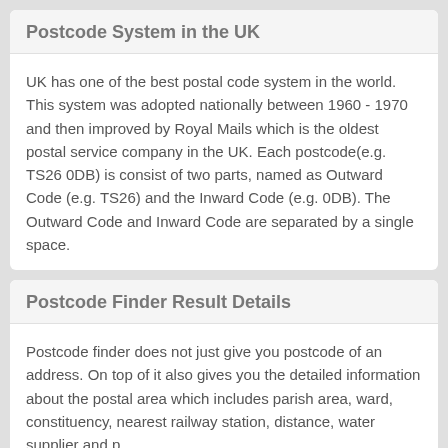Postcode System in the UK
UK has one of the best postal code system in the world. This system was adopted nationally between 1960 - 1970 and then improved by Royal Mails which is the oldest postal service company in the UK. Each postcode(e.g. TS26 0DB) is consist of two parts, named as Outward Code (e.g. TS26) and the Inward Code (e.g. 0DB). The Outward Code and Inward Code are separated by a single space.
Postcode Finder Result Details
Postcode finder does not just give you postcode of an address. On top of it also gives you the detailed information about the postal area which includes parish area, ward, constituency, nearest railway station, distance, water supplier and p...
[Figure (other): BitLife advertisement banner — 'NOW WITH GOD MODE' with lightning bolt and pointing hand graphic]